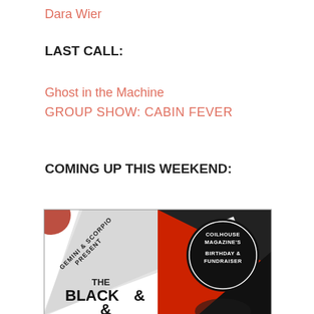Dara Wier
LAST CALL:
Ghost in the Machine
GROUP SHOW: CABIN FEVER
COMING UP THIS WEEKEND:
[Figure (illustration): Event flyer split into two halves: left half shows 'GEMINI & SCORPIO PRESENT' diagonal text over black-and-white design with 'THE BLACK &' large lettering; right half shows a red and black circular badge reading 'COILHOUSE MAGAZINE'S BIRTHDAY & FUNDRAISER']